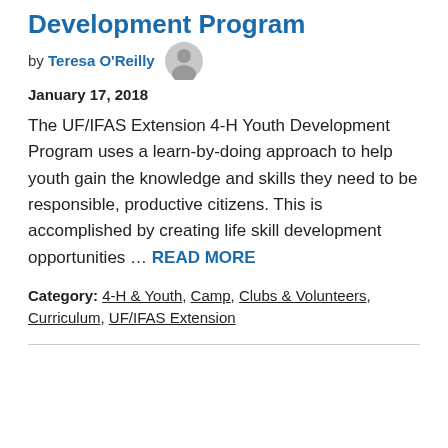Development Program
by Teresa O'Reilly
January 17, 2018
The UF/IFAS Extension 4-H Youth Development Program uses a learn-by-doing approach to help youth gain the knowledge and skills they need to be responsible, productive citizens. This is accomplished by creating life skill development opportunities … READ MORE
Category: 4-H & Youth, Camp, Clubs & Volunteers, Curriculum, UF/IFAS Extension